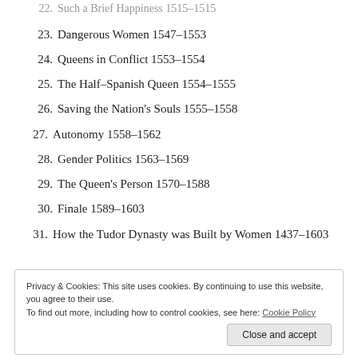22. Such a Brief Happiness 1515-1515
23. Dangerous Women 1547-1553
24. Queens in Conflict 1553-1554
25. The Half-Spanish Queen 1554-1555
26. Saving the Nation's Souls 1555-1558
27. Autonomy 1558-1562
28. Gender Politics 1563-1569
29. The Queen's Person 1570-1588
30. Finale 1589-1603
31. How the Tudor Dynasty was Built by Women 1437-1603
Privacy & Cookies: This site uses cookies. By continuing to use this website, you agree to their use. To find out more, including how to control cookies, see here: Cookie Policy
Close and accept